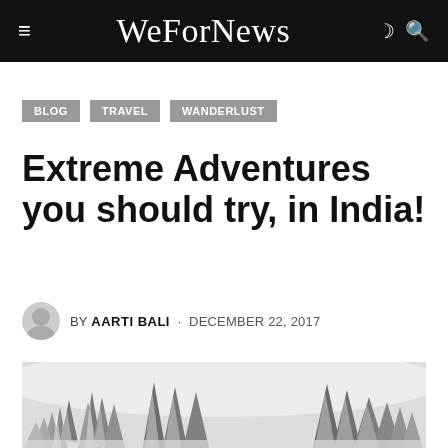WeForNews
BLOG
TRAVEL
WANDERLUST
Extreme Adventures you should try, in India!
BY AARTI BALI · DECEMBER 22, 2017
[Figure (photo): Snow-covered coniferous trees in a wintry misty landscape, black and white/grey tones]